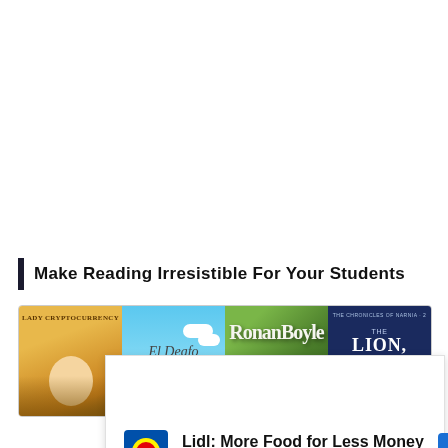Make Reading Irresistible For Your Students
[Figure (illustration): A horizontal strip showing four book covers: a yellow/brown cover with a girl's face, a light blue sky cover with cursive text 'El Deafo', a dark green cover with the title 'Ronan Boyle', and a dark navy cover for 'The Lion the Witch and the Wardrobe' (The Chronicles of Narnia #2).]
[Figure (screenshot): An advertisement overlay for Lidl: 'Lidl: More Food for Less Money' with the Lidl logo (blue/yellow/red square) and a blue navigation arrow icon. Below the ad are play and close button controls.]